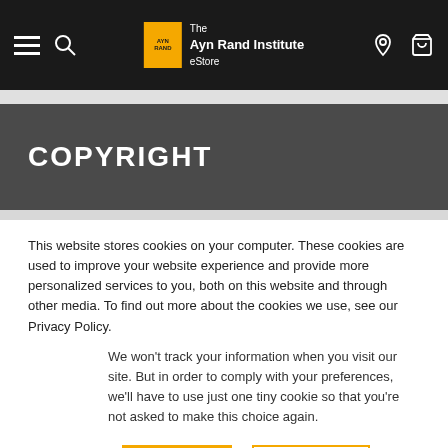The Ayn Rand Institute eStore
COPYRIGHT
This website stores cookies on your computer. These cookies are used to improve your website experience and provide more personalized services to you, both on this website and through other media. To find out more about the cookies we use, see our Privacy Policy.
We won't track your information when you visit our site. But in order to comply with your preferences, we'll have to use just one tiny cookie so that you're not asked to make this choice again.